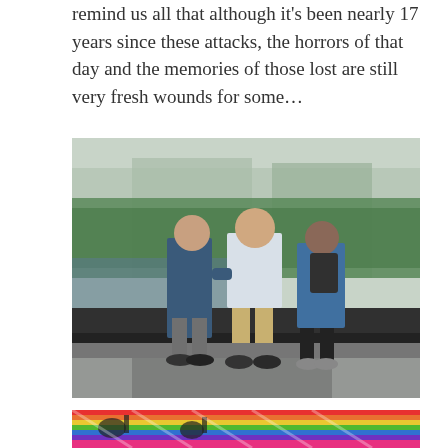remind us all that although it's been nearly 17 years since these attacks, the horrors of that day and the memories of those lost are still very fresh wounds for some...
[Figure (photo): Three people standing at the 9/11 Memorial pool edge, viewed from behind. One person in a blue shirt has their arm around the person in the center wearing a light button-up shirt and khaki shorts. A third person in blue with a backpack stands to the right. Trees and a glass building are visible in the background.]
Needing a mental break we walked to our next destination to clear our heads. Doh was a much needed treat to pull us back into a happier place before dinner with my friend Ty.
[Figure (photo): Colorful graffiti/mural with rainbow stripes and musical note designs, partially visible at bottom of page.]